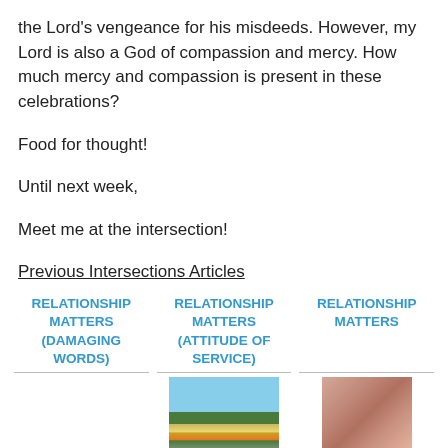the Lord's vengeance for his misdeeds.  However, my Lord is also a God of compassion and mercy.  How much mercy and compassion is present in these celebrations?
Food for thought!
Until next week,
Meet me at the intersection!
Previous Intersections Articles
RELATIONSHIP MATTERS (DAMAGING WORDS)
RELATIONSHIP MATTERS (ATTITUDE OF SERVICE)
RELATIONSHIP MATTERS
[Figure (photo): Outdoor playground scene with trees and play equipment]
[Figure (photo): Close-up of hands]